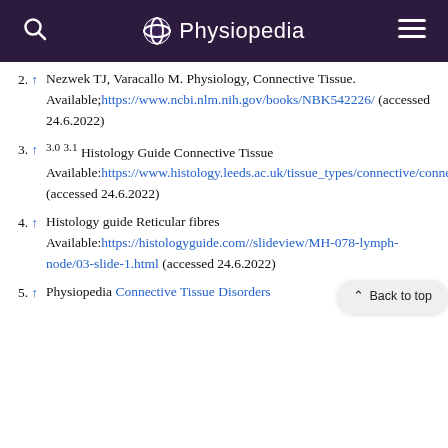Physiopedia
2. ↑ Nezwek TJ, Varacallo M. Physiology, Connective Tissue. Available; https://www.ncbi.nlm.nih.gov/books/NBK542226/ (accessed 24.6.2022)
3. ↑ 3.0 3.1 Histology Guide Connective Tissue Available: https://www.histology.leeds.ac.uk/tissue_types/connective/connective_groundS.php (accessed 24.6.2022)
4. ↑ Histology guide Reticular fibres Available: https://histologyguide.com//slideview/MH-078-lymph-node/03-slide-1.html (accessed 24.6.2022)
5. ↑ Physiopedia Connective Tissue Disorders